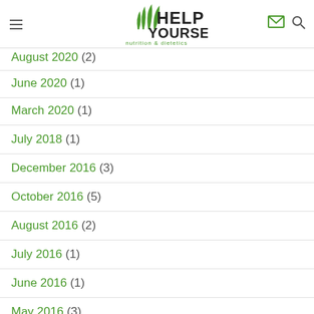Help Yourself nutrition & dietetics
August 2020 (2)
June 2020 (1)
March 2020 (1)
July 2018 (1)
December 2016 (3)
October 2016 (5)
August 2016 (2)
July 2016 (1)
June 2016 (1)
May 2016 (3)
April 2016 (4)